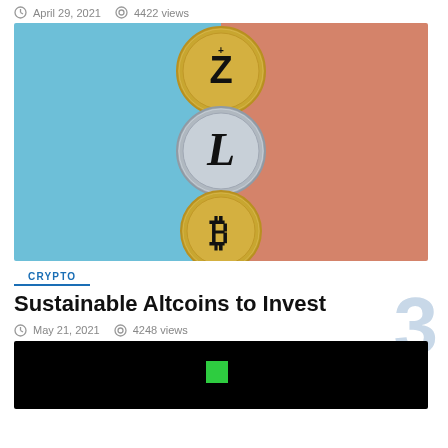April 29, 2021  4422 views
[Figure (photo): Three cryptocurrency coins stacked vertically against a split blue and salmon/coral background: top coin is gold with Z symbol (Zcash), middle coin is silver with L symbol (Litecoin), bottom coin is gold with B symbol (Bitcoin)]
CRYPTO
Sustainable Altcoins to Invest
May 21, 2021  4248 views
[Figure (photo): Dark/black image with a small green square and partial circular element visible at the bottom]